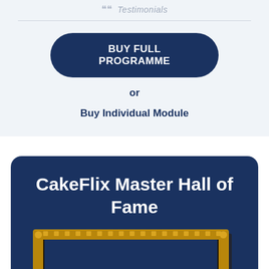Testimonials
BUY FULL PROGRAMME
or
Buy Individual Module
CakeFlix Master Hall of Fame
[Figure (photo): Ornate golden picture frame on dark blue background]